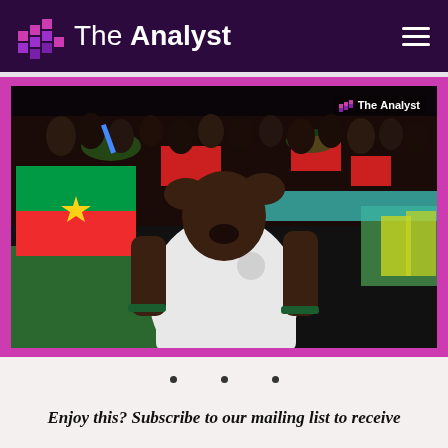The Analyst
[Figure (photo): A Burkina Faso football player in a white kit with hands on head in distress/emotion, with a crowd of supporters waving Burkina Faso flags in the background. The Analyst watermark is visible in the top right corner of the image.]
Enjoy this? Subscribe to our mailing list to receive